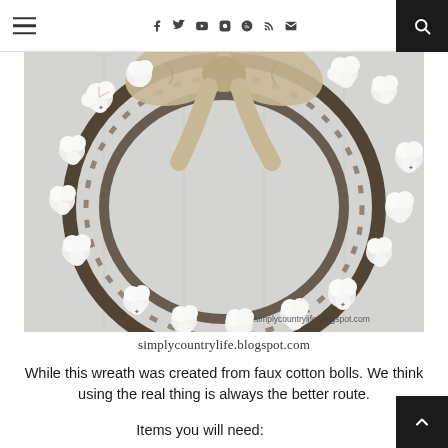Navigation bar with hamburger menu, social icons (facebook, twitter, youtube, instagram, pinterest, rss, email), and search button
[Figure (photo): A cotton boll wreath made of faux cotton bolls on a grapevine base, with a burlap bow at the top, hanging on a white wooden door. Watermark reads simplycountrylife.blogspot.com]
simplycountrylife.blogspot.com
While this wreath was created from faux cotton bolls. We think using the real thing is always the better route.
Items you will need: